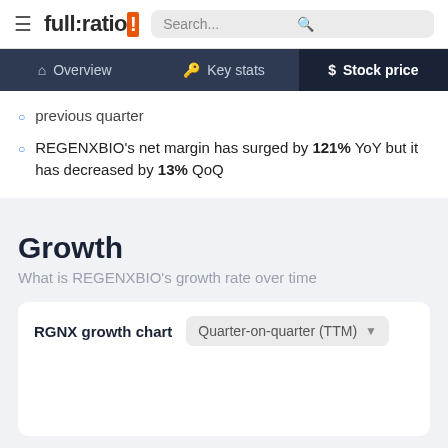full:ratio | Overview | Key stats | Stock price
previous quarter
REGENXBIO's net margin has surged by 121% YoY but it has decreased by 13% QoQ
Growth
What is REGENXBIO's growth rate over time
RGNX growth chart   Quarter-on-quarter (TTM)